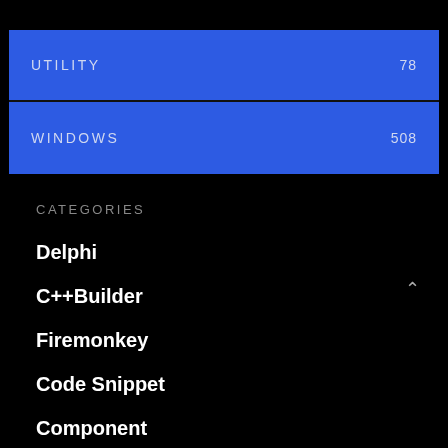UTILITY  78
WINDOWS  508
CATEGORIES
Delphi
C++Builder
Firemonkey
Code Snippet
Component